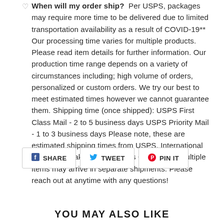When will my order ship? Per USPS, packages may require more time to be delivered due to limited transportation availability as a result of COVID-19** Our processing time varies for multiple products. Please read item details for further information. Our production time range depends on a variety of circumstances including; high volume of orders, personalized or custom orders. We try our best to meet estimated times however we cannot guarantee them. Shipping time (once shipped): USPS First Class Mail - 2 to 5 business days USPS Priority Mail - 1 to 3 business days Please note, these are estimated shipping times from USPS. International orders may take up to 3 weeks Orders with multiple items may arrive in separate shipments. Please reach out at anytime with any questions!
SHARE   TWEET   PIN IT
YOU MAY ALSO LIKE